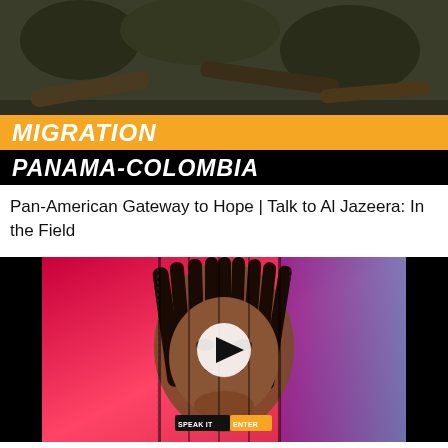[Figure (photo): Thumbnail image for Migration Panama-Colombia video with orange bar showing 'MIGRATION' text and black bar showing 'PANAMA-COLOMBIA' text overlay on a dark outdoor background]
Pan-American Gateway to Hope | Talk to Al Jazeera: In the Field
[Figure (screenshot): Video thumbnail showing a young woman with braids on a colorful red/pink background, with a white play button circle in the center and a badge reading 'SPEAK IT' at the bottom]
LAUREN JAUREGUI – TEMPORARY (PSEUDO VIDEO)